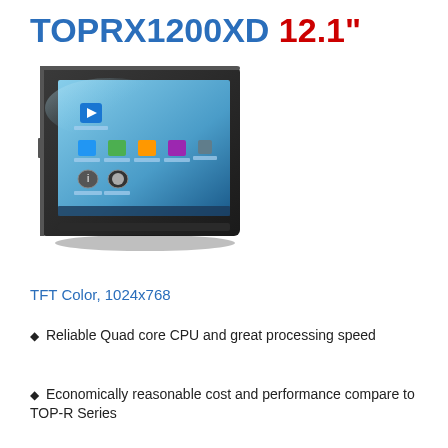TOPRX1200XD 12.1"
[Figure (photo): TOPRX1200XD 12.1 inch industrial panel PC with black bezel and touchscreen display showing a desktop interface with icons]
TFT Color, 1024x768
Reliable Quad core CPU and great processing speed
Economically reasonable cost and performance compare to TOP-R Series